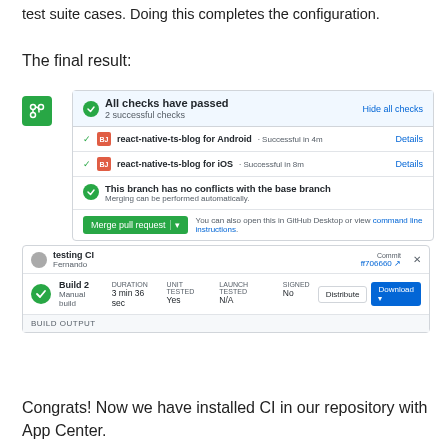test suite cases. Doing this completes the configuration.
The final result:
[Figure (screenshot): GitHub pull request checks panel showing all checks passed: react-native-ts-blog for Android (Successful in 4m) and react-native-ts-blog for iOS (Successful in 8m), branch has no conflicts, with a Merge pull request button. Below it, a Bitrise CI panel showing Build 2 (Manual build), Duration 3 min 36 sec, Unit Tested: Yes, Launch Tested: N/A, Signed: No, with Distribute and Download buttons, and a BUILD OUTPUT section.]
Congrats! Now we have installed CI in our repository with App Center.